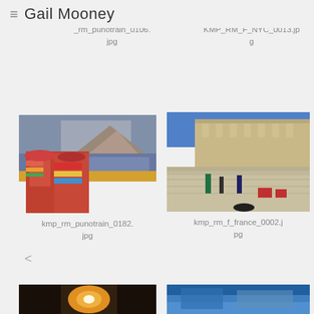≡ Gail Mooney
[Figure (photo): Partially visible photo top-left, cropped]
_rm_punotrain_0106.jpg
[Figure (photo): Partially visible photo top-right, cropped, ocean/water scene]
KMP_RM_F_NYC_0013.jpg
[Figure (photo): Two people in traditional Peruvian clothing standing near a train]
kmp_rm_punotrain_0182.jpg
[Figure (photo): People in a large plaza or courtyard with stone building in background, France]
kmp_rm_f_france_0002.jpg
[Figure (photo): Bottom-left partial photo with warm orange/golden tones]
[Figure (photo): Bottom-right partial photo with blue tones]